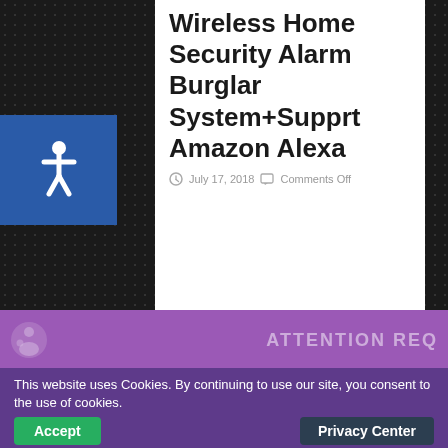Wireless Home Security Alarm Burglar System+Supprt Amazon Alexa
July 17, 2018   Comments Off
[Figure (infographic): Accessibility icon (wheelchair symbol) in white on a blue square background]
ATTENTION REQ
This website uses Cookies. By continuing to use our site, you consent to the use of cookies.
Accept   Privacy Center